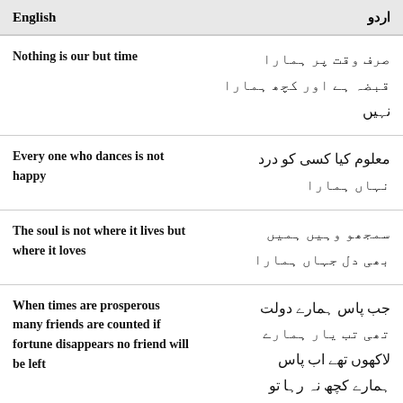| English | اردو |
| --- | --- |
| Nothing is our but time | صرف وقت پر ہمارا قبضہ ہے اور کچھ ہمارا نہیں |
| Every one who dances is not happy | معلوم کیا کسی کو درد نہاں ہمارا |
| The soul is not where it lives but where it loves | سمجھو وہیں ہمیں بھی دل جہاں ہمارا |
| When times are prosperous many friends are counted if fortune disappears no friend will be left | جب پاس ہمارے دولت تھی تب یار ہمارے لاکھوں تھے اب پاس ہمارے کچھ نہ رہا تو دوست ہمارا کوئی نہیں |